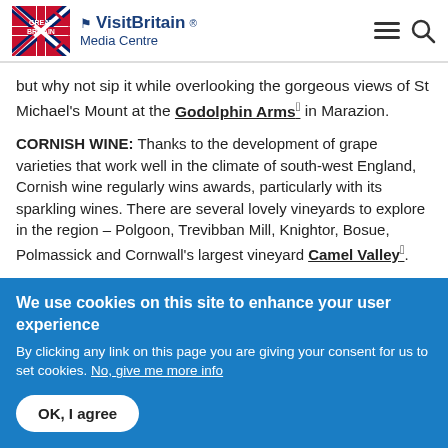VisitBritain Media Centre
but why not sip it while overlooking the gorgeous views of St Michael's Mount at the Godolphin Arms in Marazion.
CORNISH WINE: Thanks to the development of grape varieties that work well in the climate of south-west England, Cornish wine regularly wins awards, particularly with its sparkling wines. There are several lovely vineyards to explore in the region – Polgoon, Trevibban Mill, Knightor, Bosue, Polmassick and Cornwall's largest vineyard Camel Valley.
Where can I drink it?: Cornish wine is sold in supermarkets and
We use cookies on this site to enhance your user experience
By clicking any link on this page you are giving your consent for us to set cookies. No, give me more info
OK, I agree